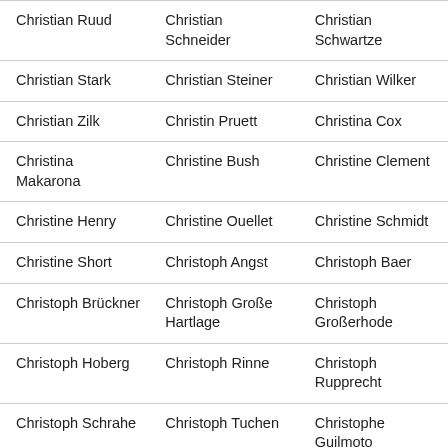| Christian Ruud | Christian Schneider | Christian Schwartze |
| Christian Stark | Christian Steiner | Christian Wilker |
| Christian Zilk | Christin Pruett | Christina Cox |
| Christina Makarona | Christine Bush | Christine Clement |
| Christine Henry | Christine Ouellet | Christine Schmidt |
| Christine Short | Christoph Angst | Christoph Baer |
| Christoph Brückner | Christoph Große Hartlage | Christoph Großerhode |
| Christoph Hoberg | Christoph Rinne | Christoph Rupprecht |
| Christoph Schrahe | Christoph Tuchen | Christophe Guilmoto |
| Christophe Le … | Christophe … | Christophe Verbaere |